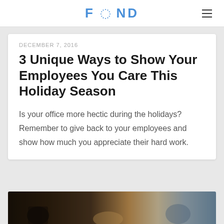FOND
DECEMBER 7, 2016
3 Unique Ways to Show Your Employees You Care This Holiday Season
Is your office more hectic during the holidays? Remember to give back to your employees and show how much you appreciate their hard work.
[Figure (photo): Photo strip at the bottom showing people in an office or social setting]